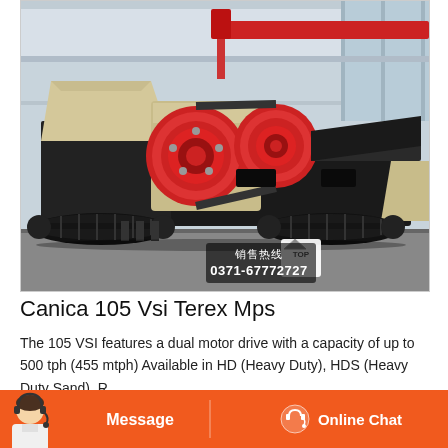[Figure (photo): Large industrial mobile jaw crusher on crawler tracks inside a factory/warehouse. The machine is primarily black with cream/beige crushing components and red pulleys. A red overhead crane is visible in the background. Chinese text watermark '销售热线' and phone number '0371-67772727' appear in the bottom right of the image.]
Canica 105 Vsi Terex Mps
The 105 VSI features a dual motor drive with a capacity of up to 500 tph (455 mtph) Available in HD (Heavy Duty), HDS (Heavy Duty Sand), R...
[Figure (other): Bottom navigation bar with orange background. Left side shows a customer service representative avatar. Center has 'Message' button. Right side has 'Online Chat' button with headset icon.]